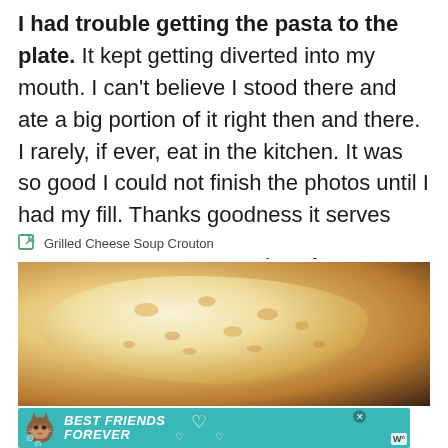I had trouble getting the pasta to the plate. It kept getting diverted into my mouth. I can't believe I stood there and ate a big portion of it right then and there. I rarely, if ever, eat in the kitchen. It was so good I could not finish the photos until I had my fill. Thanks goodness it serves more than one. I still had plenty for the photo and some to save for later.
Grilled Cheese Soup Crouton
[Figure (photo): Close-up photo of a grilled cheese crouton, pale golden toasted bread with melted cheese, blurred background with orange tones]
[Figure (infographic): Advertisement banner: teal background with cat illustration, text BEST FRIENDS FOREVER in white bold italic, heart icons, close button, and small logo]